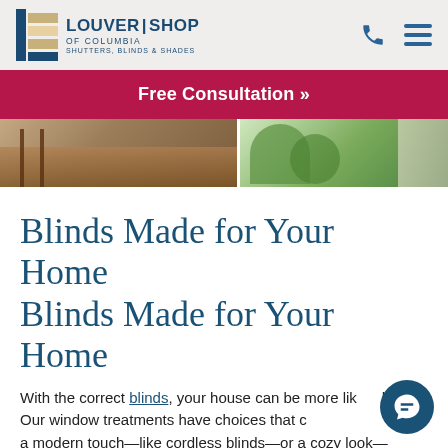LOUVER SHOP OF COLUMBIA — SHUTTERS, BLINDS & SHADES
Free Consultation »
[Figure (photo): Two side-by-side interior/exterior home photos showing window treatments and greenery]
Blinds Made for Your Home Blinds Made for Your Home
With the correct blinds, your house can be more like home. Our window treatments have choices that c… a modern touch—like cordless blinds—or a cozy look—like blinds made from real wood.